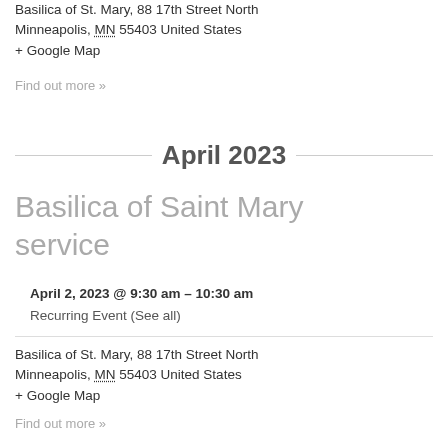Basilica of St. Mary, 88 17th Street North Minneapolis, MN 55403 United States + Google Map
Find out more »
April 2023
Basilica of Saint Mary service
April 2, 2023 @ 9:30 am – 10:30 am
Recurring Event (See all)
Basilica of St. Mary, 88 17th Street North Minneapolis, MN 55403 United States + Google Map
Find out more »